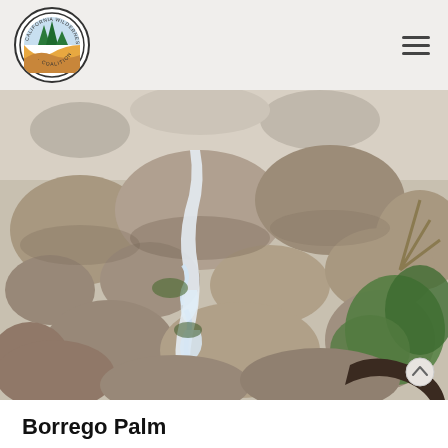California Wilderness Coalition
[Figure (photo): Rocky desert stream with boulders, cascading water, and desert scrub vegetation]
Borrego Palm